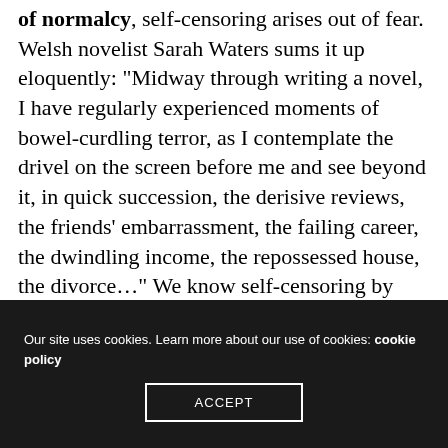of normalcy, self-censoring arises out of fear. Welsh novelist Sarah Waters sums it up eloquently: “Midway through writing a novel, I have regularly experienced moments of bowel-curdling terror, as I contemplate the drivel on the screen before me and see beyond it, in quick succession, the derisive reviews, the friends’ embarrassment, the failing career, the dwindling income, the repossessed house, the divorce…” We know self-censoring by many names. Carl Jung called it our “inner critic.” Michael Ray and Rochelle
Our site uses cookies. Learn more about our use of cookies: cookie policy